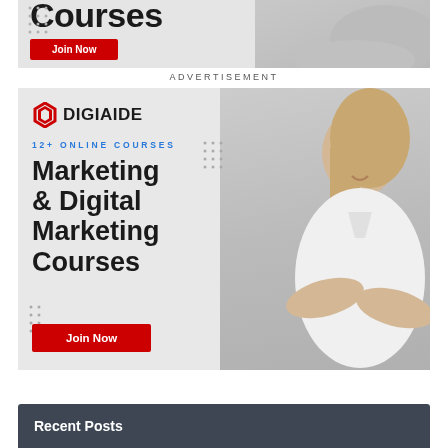[Figure (illustration): Top cropped advertisement banner for DigiAide online courses showing partial large bold text 'Courses', a red 'Join Now' button, and a person with arms crossed on the right side. Background is light grey with dot patterns.]
ADVERTISEMENT
[Figure (illustration): DigiAide advertisement banner with logo, text '12+ ONLINE COURSES', headline 'Marketing & Digital Marketing Courses' in bold dark text, a 'Join Now' red button, and a smiling blonde woman with arms crossed on the right side. Light grey background with dot patterns.]
Recent Posts